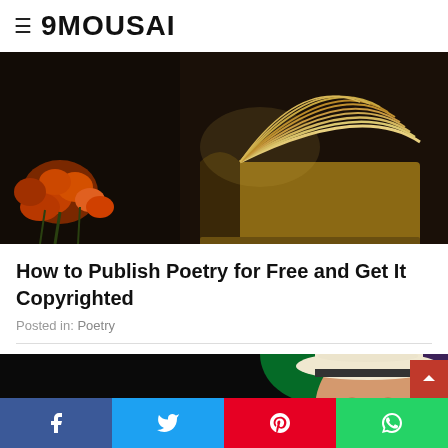9MOUSAI
[Figure (photo): An open book with pages fanning out, surrounded by orange flowers on a dark background]
How to Publish Poetry for Free and Get It Copyrighted
Posted in: Poetry
[Figure (photo): A man wearing a white hat with a dark band, lit by green and purple stage lighting against a dark background]